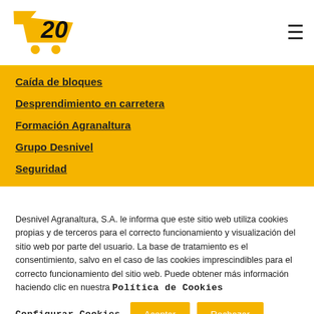[Figure (logo): Yellow shopping cart logo with '20' written in bold handwritten style]
Caída de bloques
Desprendimiento en carretera
Formación Agranaltura
Grupo Desnivel
Seguridad
Desnivel Agranaltura, S.A. le informa que este sitio web utiliza cookies propias y de terceros para el correcto funcionamiento y visualización del sitio web por parte del usuario. La base de tratamiento es el consentimiento, salvo en el caso de las cookies imprescindibles para el correcto funcionamiento del sitio web. Puede obtener más información haciendo clic en nuestra Política de Cookies
Configurar Cookies  Aceptar  Rechazar